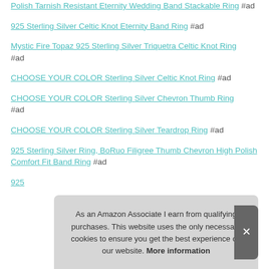Polish Tarnish Resistant Eternity Wedding Band Stackable Ring #ad
925 Sterling Silver Celtic Knot Eternity Band Ring #ad
Mystic Fire Topaz 925 Sterling Silver Triquetra Celtic Knot Ring #ad
CHOOSE YOUR COLOR Sterling Silver Celtic Knot Ring #ad
CHOOSE YOUR COLOR Sterling Silver Chevron Thumb Ring #ad
CHOOSE YOUR COLOR Sterling Silver Teardrop Ring #ad
925 Sterling Silver Ring, BoRuo Filigree Thumb Chevron High Polish Comfort Fit Band Ring #ad
925 ...
As an Amazon Associate I earn from qualifying purchases. This website uses the only necessary cookies to ensure you get the best experience on our website. More information